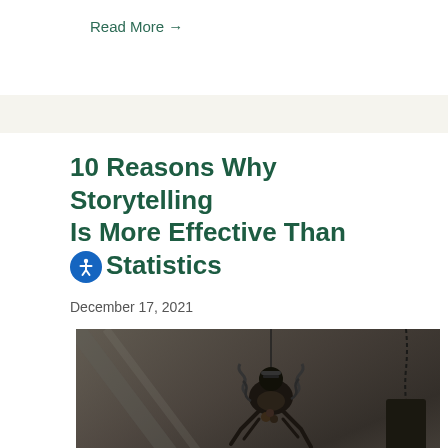Read More →
10 Reasons Why Storytelling Is More Effective Than Statistics
December 17, 2021
[Figure (photo): A dark metal sculptural figure hanging, resembling an insect or puppet made of metal parts, photographed against a light wall background.]